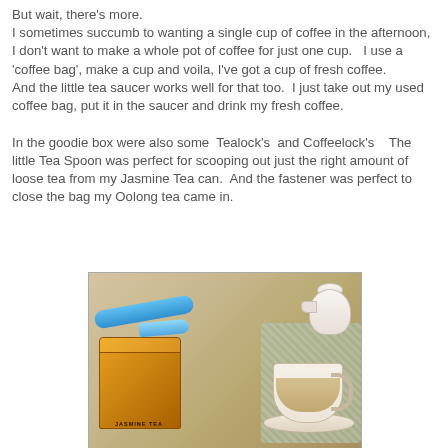But wait, there's more.
I sometimes succumb to wanting a single cup of coffee in the afternoon, I don't want to make a whole pot of coffee for just one cup.   I use a 'coffee bag', make a cup and voila, I've got a cup of fresh coffee.
And the little tea saucer works well for that too.  I just take out my used coffee bag, put it in the saucer and drink my fresh coffee.

In the goodie box were also some  Tealock's  and Coffeelock's   The little Tea Spoon was perfect for scooping out just the right amount of loose tea from my Jasmine Tea can.  And the fastener was perfect to close the bag my Oolong tea came in.
[Figure (photo): Photo showing a blue Tealock clip and small blue spoon resting on a yellow Jasmine Tea tin, with a white teapot and a floral china teacup on a saucer in the background, all on a woven mat.]